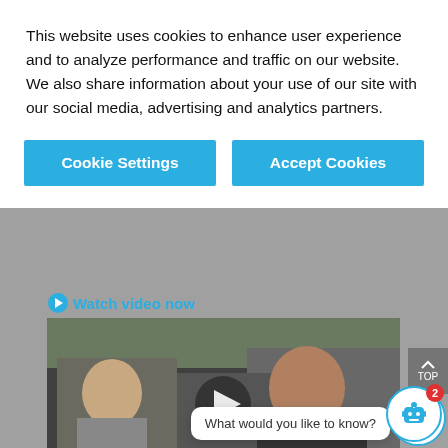This website uses cookies to enhance user experience and to analyze performance and traffic on our website. We also share information about your use of our site with our social media, advertising and analytics partners.
Cookie Settings
Accept Cookies
Watch video now
[Figure (screenshot): Video thumbnail showing a man in a car (driver) and a child in the back seat, with a play button overlay]
What would you like to know?
Video